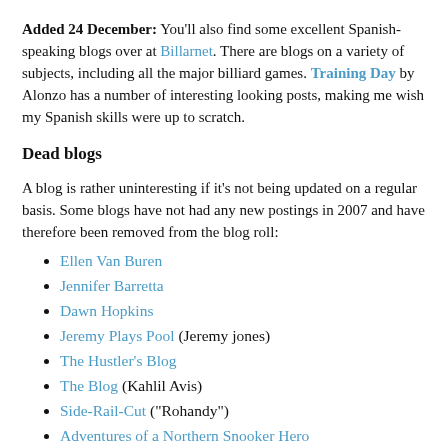Added 24 December: You'll also find some excellent Spanish-speaking blogs over at Billarnet. There are blogs on a variety of subjects, including all the major billiard games. Training Day by Alonzo has a number of interesting looking posts, making me wish my Spanish skills were up to scratch.
Dead blogs
A blog is rather uninteresting if it's not being updated on a regular basis. Some blogs have not had any new postings in 2007 and have therefore been removed from the blog roll:
Ellen Van Buren
Jennifer Barretta
Dawn Hopkins
Jeremy Plays Pool (Jeremy jones)
The Hustler's Blog
The Blog (Kahlil Avis)
Side-Rail-Cut ("Rohandy")
Adventures of a Northern Snooker Hero